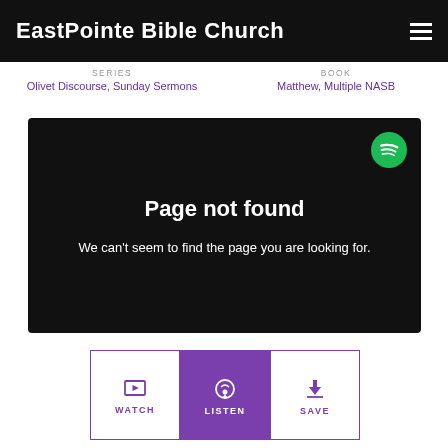EastPointe Bible Church
SERIES
Olivet Discourse, Sunday Sermons
BOOK
Matthew, Multiple NASB
[Figure (screenshot): Spotify embed player showing a Page not found error with text: Page not found. We can't seem to find the page you are looking for.]
WATCH
LISTEN
SAVE